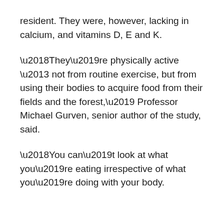resident. They were, however, lacking in calcium, and vitamins D, E and K.
‘They’re physically active – not from routine exercise, but from using their bodies to acquire food from their fields and the forest,’ Professor Michael Gurven, senior author of the study, said.
‘You can’t look at what you’re eating irrespective of what you’re doing with your body.